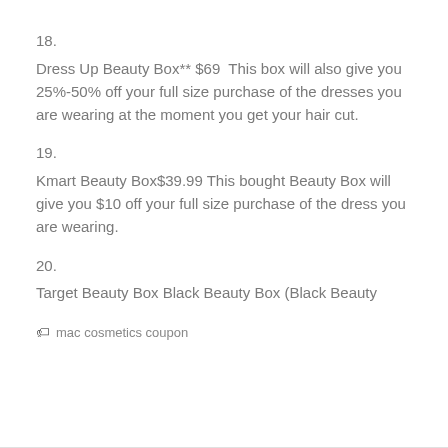18.
Dress Up Beauty Box** $69  This box will also give you 25%-50% off your full size purchase of the dresses you are wearing at the moment you get your hair cut.
19.
Kmart Beauty Box$39.99 This bought Beauty Box will give you $10 off your full size purchase of the dress you are wearing.
20.
Target Beauty Box Black Beauty Box (Black Beauty
mac cosmetics coupon